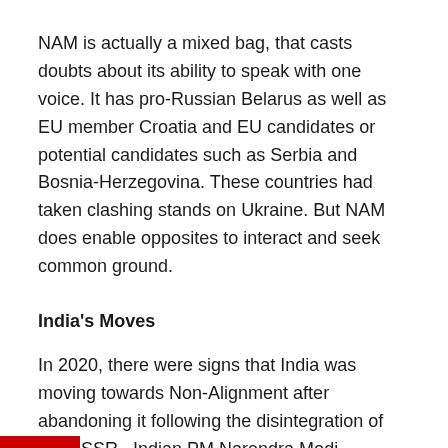NAM is actually a mixed bag, that casts doubts about its ability to speak with one voice. It has pro-Russian Belarus as well as EU member Croatia and EU candidates or potential candidates such as Serbia and Bosnia-Herzegovina. These countries had taken clashing stands on Ukraine. But NAM does enable opposites to interact and seek common ground.
India's Moves
In 2020, there were signs that India was moving towards Non-Alignment after abandoning it following the disintegration of the USSR.  Indian PM Narendra Modi participated at the NAM virtual summit on May 4, 2020. That was the first time Modi was participating in a NAM meeting after he came to power in 2014. Between 2014 and 2020, two NAM summits were held (in 2016 and in